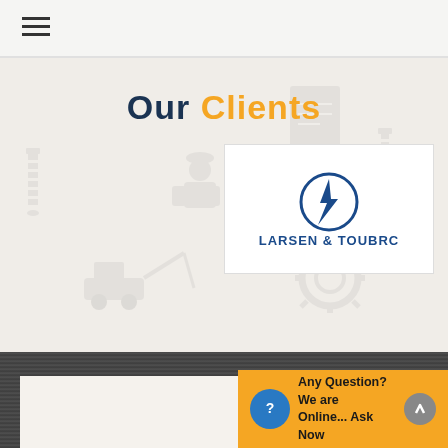≡ (hamburger menu)
Our Clients
[Figure (logo): Larsen & Toubro company logo with circular L&T symbol and company name below]
Maintenance Con...
FULL COMPREHEN... MAINTENANCE CO...
Any Question? We are Online... Ask Now